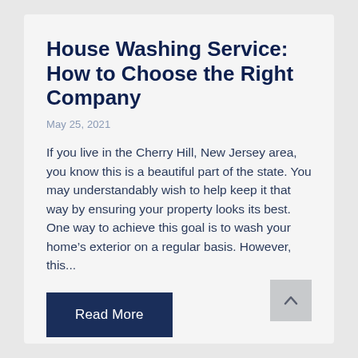House Washing Service: How to Choose the Right Company
May 25, 2021
If you live in the Cherry Hill, New Jersey area, you know this is a beautiful part of the state. You may understandably wish to help keep it that way by ensuring your property looks its best. One way to achieve this goal is to wash your home's exterior on a regular basis. However, this...
Read More